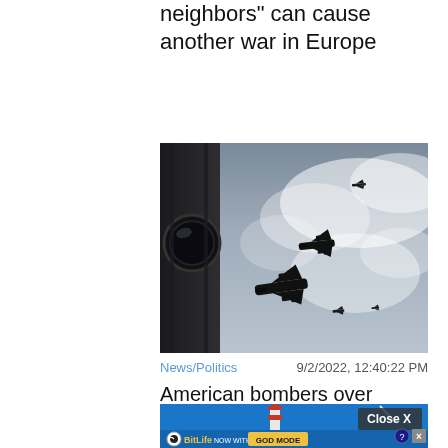neighbors" can cause another war in Europe
[Figure (photo): Military aircraft (bombers) flying over Stockholm, shot from below against a cloudy sky, with a building/tower structure visible at lower left edge.]
News/Politics    9/2/2022, 12:40:22 PM
American bombers over Stockholm: "Exercise"
[Figure (screenshot): Advertisement banner: BitLife game ad showing lighthouse, hand, 'Close X' button, 'BitLife NOW WITH GOD MODE' text on blue background.]